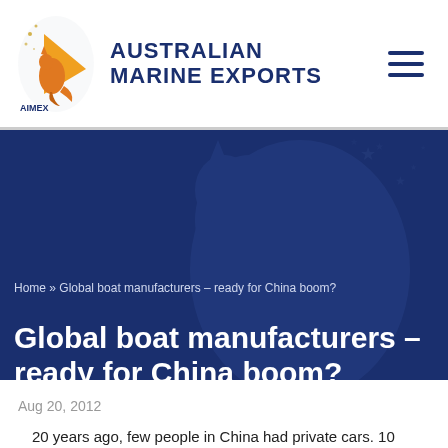[Figure (logo): AIMEX Australian Marine Exports logo with kangaroo and sail graphic in orange and gold, and bold navy blue text reading AUSTRALIAN MARINE EXPORTS]
Home » Global boat manufacturers – ready for China boom?
Global boat manufacturers – ready for China boom?
Aug 20, 2012
20 years ago, few people in China had private cars. 10 years ago, Chinese new money spent big on BMW or Mercedes-